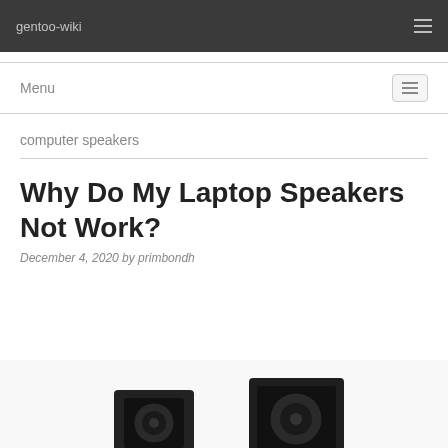gentoo-wiki
Menu
computer speakers
Why Do My Laptop Speakers Not Work?
December 4, 2020 by primbondh
[Figure (photo): Photo of black computer speakers, partially visible at the bottom of the page]